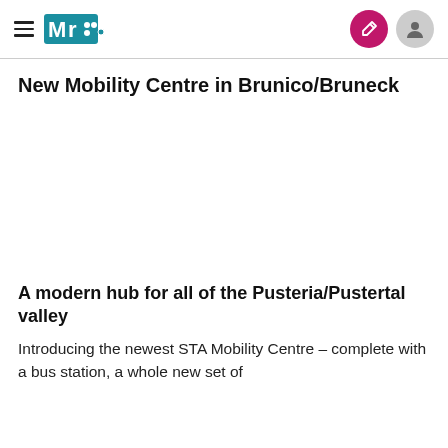MR logo navigation header
New Mobility Centre in Brunico/Bruneck
[Figure (photo): Photo placeholder area for the new Mobility Centre in Brunico/Bruneck]
A modern hub for all of the Pusteria/Pustertal valley
Introducing the newest STA Mobility Centre – complete with a bus station, a whole new set of